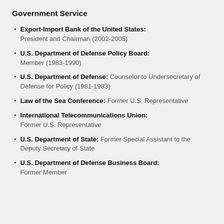Government Service
Export-Import Bank of the United States: President and Chairman (2002-2005)
U.S. Department of Defense Policy Board: Member (1983-1990)
U.S. Department of Defense: Counselor to Undersecretary of Defense for Policy (1981-1983)
Law of the Sea Conference: Former U.S. Representative
International Telecommunications Union: Former U.S. Representative
U.S. Department of State: Former Special Assistant to the Deputy Secretary of State
U.S. Department of Defense Business Board: Former Member